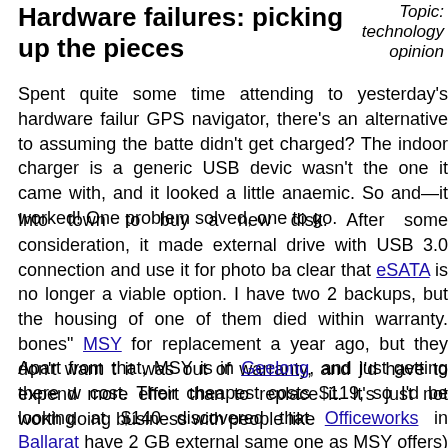Hardware failures: picking up the pieces
Topic: technology opinion
Spent quite some time attending to yesterday's hardware failure. GPS navigator, there's an alternative to assuming the battery didn't get charged? The indoor charger is a generic USB device, wasn't the one it came with, and it looked a little anaemic. So and—it worked! One problem solved, one to go.
Into town to buy a new disk. After some consideration, it made external drive with USB 3.0 connection and use it for photo ba clear that eSATA is no longer a viable option. I have two 2 backups, but the housing of one of them died within warranty. bones" MSY for replacement a year ago, but they don't want t it was out of warranty, and I'd have to expend more effort than to replace it. It's just not worth doing business with people like
Apart from that, MSY is in Geelong, and just getting there w cost. Their cheapest costs $119, so I'd be looking at $140 discovered that Officeworks in Ballarat have 2 GB externals same one as MSY offers) for $99. It's amazing how cheap the Staticice suggests that they're pretty much the cheapest. Checked JB HiFi as well, but their disks started round the $1 the disk at Officeworks.
Back home and started on a long rearrangement of disk space